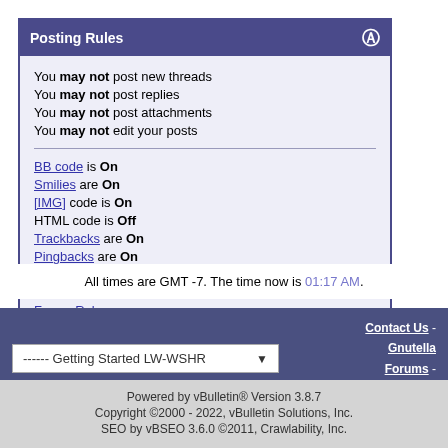Posting Rules
You may not post new threads
You may not post replies
You may not post attachments
You may not edit your posts
BB code is On
Smilies are On
[IMG] code is On
HTML code is Off
Trackbacks are On
Pingbacks are On
Refbacks are On
Forum Rules
All times are GMT -7. The time now is 01:17 AM.
Contact Us - Gnutella Forums - Archive - Top
Powered by vBulletin® Version 3.8.7
Copyright ©2000 - 2022, vBulletin Solutions, Inc.
SEO by vBSEO 3.6.0 ©2011, Crawlability, Inc.

Copyright © 2020 Gnutella Forums.
All Rights Reserved.